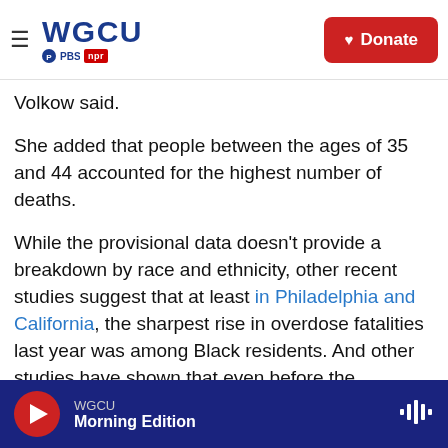WGCU PBS NPR — Donate
Volkow said.
She added that people between the ages of 35 and 44 accounted for the highest number of deaths.
While the provisional data doesn't provide a breakdown by race and ethnicity, other recent studies suggest that at least in Philadelphia and California, the sharpest rise in overdose fatalities last year was among Black residents. And other studies have shown that even before the pandemic, overdose rates in Black communities were rising much faster than among white
WGCU Morning Edition